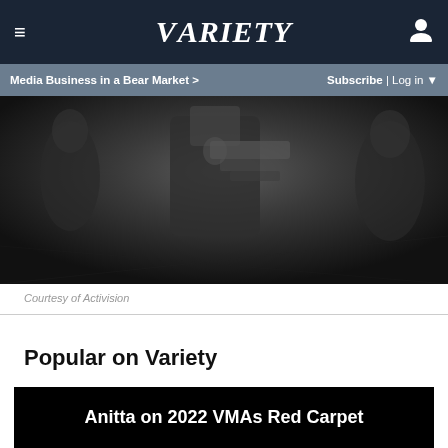≡   VARIETY   👤
Media Business in a Bear Market >   Subscribe | Log in ▼
[Figure (photo): Dark moody image showing armed soldiers/characters in a military or action game scene, grayscale tones with dark background.]
Courtesy of Activision
Popular on Variety
Anitta on 2022 VMAs Red Carpet